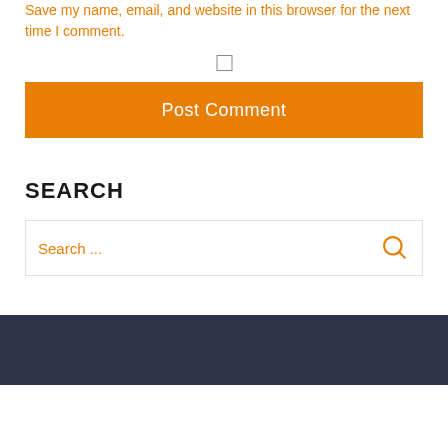Save my name, email, and website in this browser for the next time I comment.
[Figure (other): Unchecked checkbox input element]
Post Comment
SEARCH
[Figure (other): Search input field with orange search icon on the right]